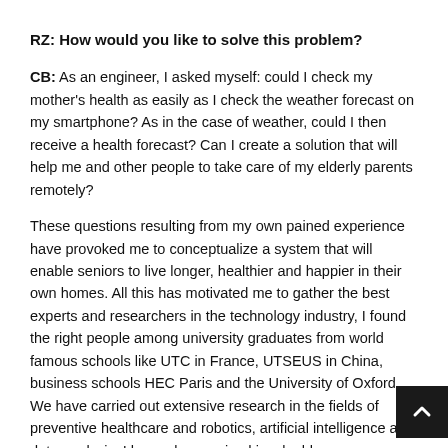RZ: How would you like to solve this problem?
CB: As an engineer, I asked myself: could I check my mother's health as easily as I check the weather forecast on my smartphone? As in the case of weather, could I then receive a health forecast? Can I create a solution that will help me and other people to take care of my elderly parents remotely?
These questions resulting from my own pained experience have provoked me to conceptualize a system that will enable seniors to live longer, healthier and happier in their own homes. All this has motivated me to gather the best experts and researchers in the technology industry, I found the right people among university graduates from world famous schools like UTC in France, UTSEUS in China, business schools HEC Paris and the University of Oxford. We have carried out extensive research in the fields of preventive healthcare and robotics, artificial intelligence and data analysis. I have also received invaluable